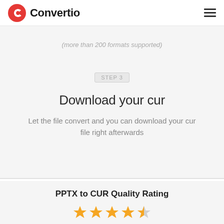Convertio
(more than 200 formats supported)
STEP 3
Download your cur
Let the file convert and you can download your cur file right afterwards
PPTX to CUR Quality Rating
[Figure (infographic): 4 full gold stars and 1 half gold/grey star rating display]
4.3 (13 votes)